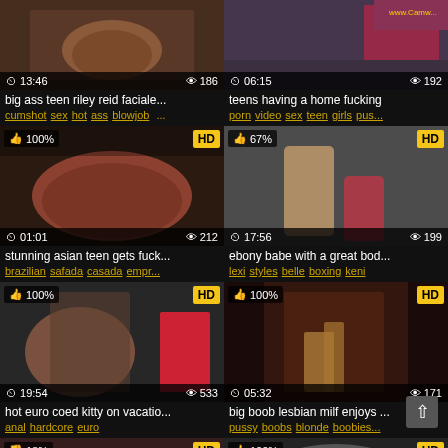[Figure (screenshot): Video thumbnail grid showing adult video listings with thumbnails, durations, view counts, ratings, tags, and titles]
big ass teen riley reid faciale...
cumshot sex hot ass blowjob ...
teens having a home fucking
porn video sex teen girls pus...
stunning asian teen gets fuck...
brazilian safada casada empr...
ebony babe with a great bod...
lexi styles belle boxing keni
hot euro coed kitty on vacatio...
anal hardcore euro
big boob lesbian milf enjoys ...
pussy boobs blonde boobies...